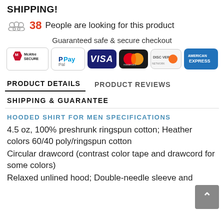SHIPPING!
38 People are looking for this product
Guaranteed safe & secure checkout
[Figure (logo): Payment method logos: McAfee SECURE, PayPal, VISA, Mastercard, Discover, American Express]
PRODUCT DETAILS  PRODUCT REVIEWS
SHIPPING & GUARANTEE
HOODED SHIRT FOR MEN SPECIFICATIONS
4.5 oz, 100% preshrunk ringspun cotton; Heather colors 60/40 poly/ringspun cotton
Circular drawcord (contrast color tape and drawcord for some colors)
Relaxed unlined hood; Double-needle sleeve and